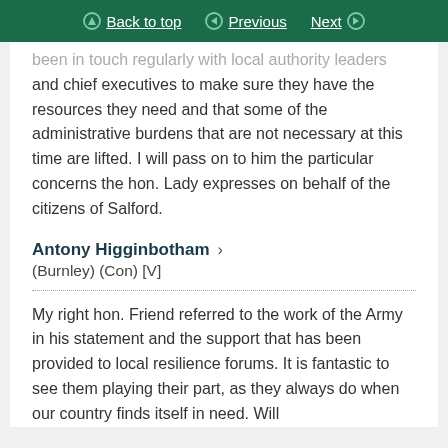Back to top | Previous | Next
been in touch regularly with local authority leaders and chief executives to make sure they have the resources they need and that some of the administrative burdens that are not necessary at this time are lifted. I will pass on to him the particular concerns the hon. Lady expresses on behalf of the citizens of Salford.
Antony Higginbotham
(Burnley) (Con) [V]
My right hon. Friend referred to the work of the Army in his statement and the support that has been provided to local resilience forums. It is fantastic to see them playing their part, as they always do when our country finds itself in need. Will